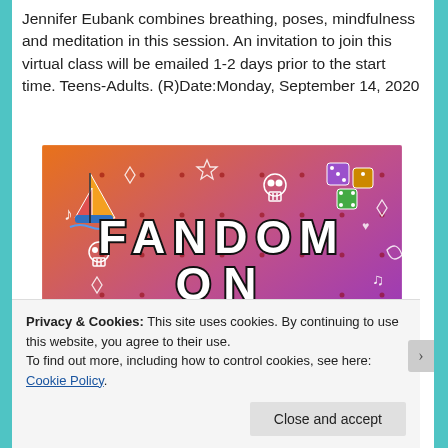Jennifer Eubank combines breathing, poses, mindfulness and meditation in this session. An invitation to join this virtual class will be emailed 1-2 days prior to the start time. Teens-Adults. (R)Date:Monday, September 14, 2020
[Figure (illustration): Colorful promotional image with gradient background from orange to purple. Large bold text reads 'FANDOM ON tumblr' with various doodle illustrations of a sailboat, skull, dice, sea creatures, music notes, hearts, and other decorative elements scattered around.]
Privacy & Cookies: This site uses cookies. By continuing to use this website, you agree to their use.
To find out more, including how to control cookies, see here: Cookie Policy
Close and accept